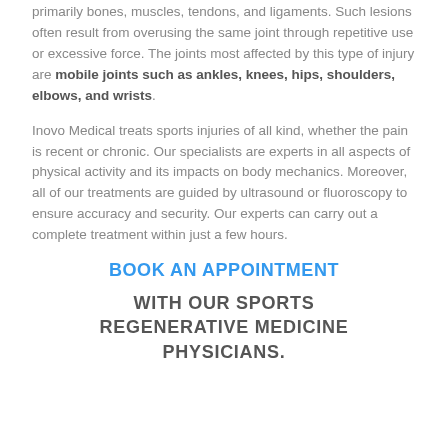primarily bones, muscles, tendons, and ligaments. Such lesions often result from overusing the same joint through repetitive use or excessive force. The joints most affected by this type of injury are mobile joints such as ankles, knees, hips, shoulders, elbows, and wrists.
Inovo Medical treats sports injuries of all kind, whether the pain is recent or chronic. Our specialists are experts in all aspects of physical activity and its impacts on body mechanics. Moreover, all of our treatments are guided by ultrasound or fluoroscopy to ensure accuracy and security. Our experts can carry out a complete treatment within just a few hours.
BOOK AN APPOINTMENT
WITH OUR SPORTS REGENERATIVE MEDICINE PHYSICIANS.